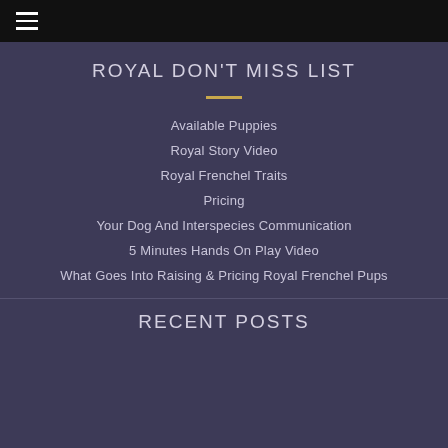☰ (hamburger menu icon)
ROYAL DON'T MISS LIST
Available Puppies
Royal Story Video
Royal Frenchel Traits
Pricing
Your Dog And Interspecies Communication
5 Minutes Hands On Play Video
What Goes Into Raising & Pricing Royal Frenchel Pups
RECENT POSTS